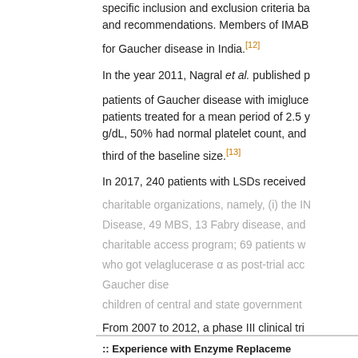specific inclusion and exclusion criteria ba and recommendations. Members of IMAB for Gaucher disease in India.[12]
In the year 2011, Nagral et al. published p patients of Gaucher disease with imigluce patients treated for a mean period of 2.5 y g/dL, 50% had normal platelet count, and third of the baseline size.[13]
In 2017, 240 patients with LSDs received charitable organizations, namely, (i) the IN Disease, 49 MBS, 13 Fabry disease, and charitable access program; 69 patients w who got velaglucerase α as post-trial acc Gaucher dise children of central and state government
From 2007 to 2012, a phase III clinical tri patients with Gaucher disease at KEM Ho them free access to ERT.[14]
:: Experience with Enzyme Replaceme